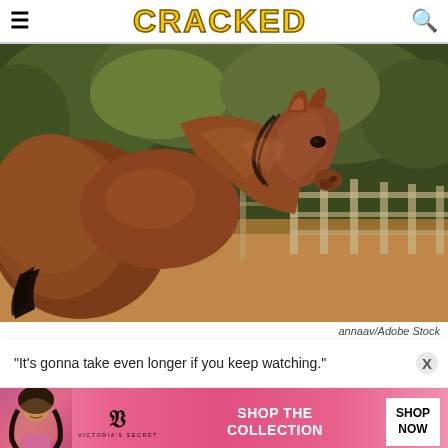CRACKED
[Figure (photo): A chestnut brown horse turning its head to look back, standing in a sandy paddock with a wooden fence and green trees in the background.]
annaav/Adobe Stock
"It's gonna take even longer if you keep watching."
[Figure (photo): Victoria's Secret advertisement banner showing a model, the VS logo, 'SHOP THE COLLECTION' text, and a 'SHOP NOW' button, on a pink background.]